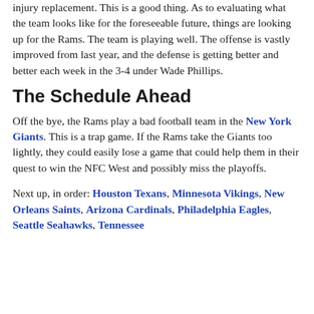injury replacement. This is a good thing. As to evaluating what the team looks like for the foreseeable future, things are looking up for the Rams. The team is playing well. The offense is vastly improved from last year, and the defense is getting better and better each week in the 3-4 under Wade Phillips.
The Schedule Ahead
Off the bye, the Rams play a bad football team in the New York Giants. This is a trap game. If the Rams take the Giants too lightly, they could easily lose a game that could help them in their quest to win the NFC West and possibly miss the playoffs.
Next up, in order: Houston Texans, Minnesota Vikings, New Orleans Saints, Arizona Cardinals, Philadelphia Eagles, Seattle Seahawks, Tennessee